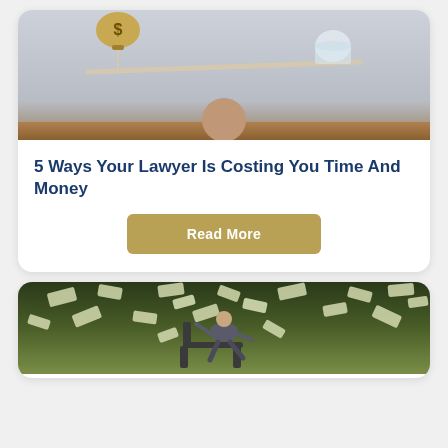[Figure (photo): A balance scale with a money bag on one side and a glass jar on the other, resting on a wooden surface against a gray background.]
5 Ways Your Lawyer Is Costing You Time And Money
Read More
[Figure (photo): A person sitting in a chair with money raining down around them, against a green-tinted background.]